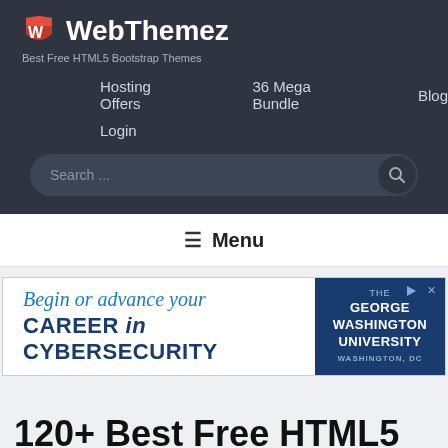WebThemez — Best Free HTML5 Bootstrap Themes
Hosting Offers   36 Mega Bundle   Blog
Login
Search ...
☰ Menu
[Figure (screenshot): Advertisement banner: 'Begin or advance your CAREER in CYBERSECURITY' with The George Washington University, Washington DC logo on the right side]
120+ Best Free HTML5